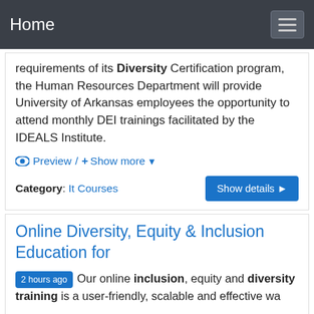Home
requirements of its Diversity Certification program, the Human Resources Department will provide University of Arkansas employees the opportunity to attend monthly DEI trainings facilitated by the IDEALS Institute.
Preview / + Show more
Category: It Courses
Online Diversity, Equity & Inclusion Education for
2 hours ago Our online inclusion, equity and diversity training is a user-friendly, scalable and effective way to quickly bring all members of your team up to speed safe, private environment. Through an engaging